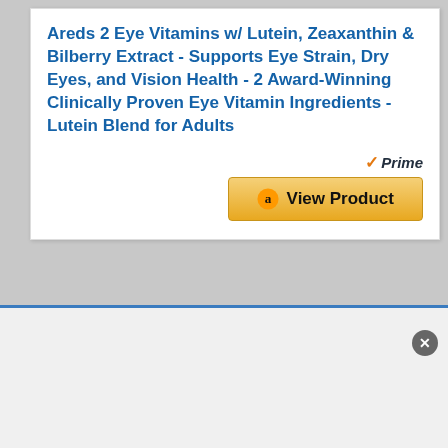Areds 2 Eye Vitamins w/ Lutein, Zeaxanthin & Bilberry Extract - Supports Eye Strain, Dry Eyes, and Vision Health - 2 Award-Winning Clinically Proven Eye Vitamin Ingredients - Lutein Blend for Adults
[Figure (other): Amazon Prime badge with orange checkmark and italic 'Prime' text]
[Figure (other): Amazon 'View Product' button with Amazon logo icon, gold/yellow gradient background]
BESTSELLER NO. 4
SALE